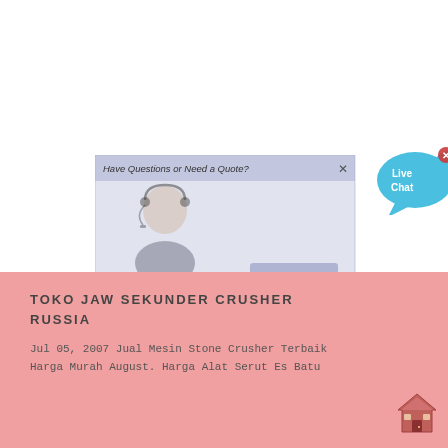[Figure (screenshot): Live chat popup widget showing a customer service representative with headset, header text 'Have Questions or Need a Quote?', an X close button, and a 'CHAT NOW' button. A blue speech bubble with 'Live Chat' text appears to the right.]
TOKO JAW SEKUNDER CRUSHER RUSSIA
Jul 05, 2007 Jual Mesin Stone Crusher Terbaik Harga Murah August. Harga Alat Serut Es Batu